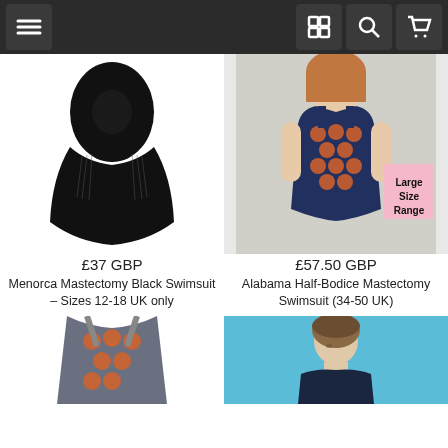[Figure (screenshot): Navigation bar with menu, grid, search, and cart icons on dark background]
[Figure (photo): Black mastectomy swimsuit product photo]
£37 GBP
Menorca Mastectomy Black Swimsuit – Sizes 12-18 UK only
[Figure (photo): Navy blue polka dot mastectomy swimsuit worn by model, with Large Size Range badge]
£57.50 GBP
Alabama Half-Bodice Mastectomy Swimsuit (34-50 UK)
[Figure (photo): Gray and orange polka dot swimsuit top, partially visible]
[Figure (photo): Woman in dark swimsuit on blue background, partially visible]